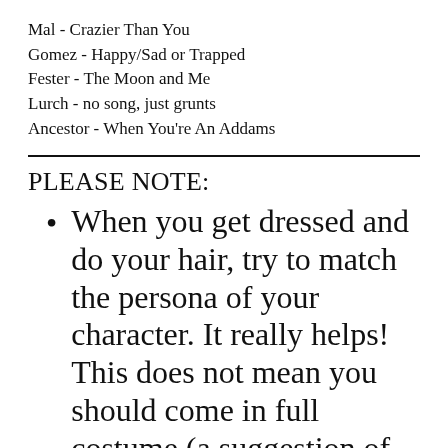Mal - Crazier Than You
Gomez - Happy/Sad or Trapped
Fester - The Moon and Me
Lurch - no song, just grunts
Ancestor - When You're An Addams
PLEASE NOTE:
When you get dressed and do your hair, try to match the persona of your character. It really helps!  This does not mean you should come in full costume (a suggestion of the character is